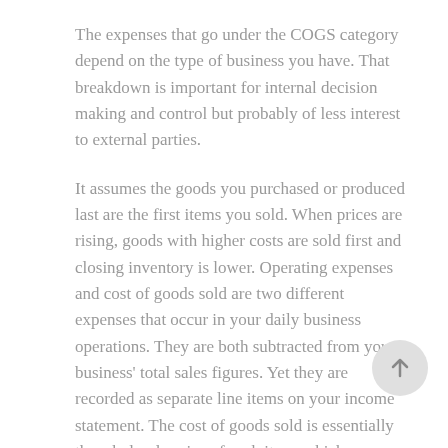The expenses that go under the COGS category depend on the type of business you have. That breakdown is important for internal decision making and control but probably of less interest to external parties.
It assumes the goods you purchased or produced last are the first items you sold. When prices are rising, goods with higher costs are sold first and closing inventory is lower. Operating expenses and cost of goods sold are two different expenses that occur in your daily business operations. They are both subtracted from your business' total sales figures. Yet they are recorded as separate line items on your income statement. The cost of goods sold is essentially the wholesale price of each item, which includes the direct labor costs